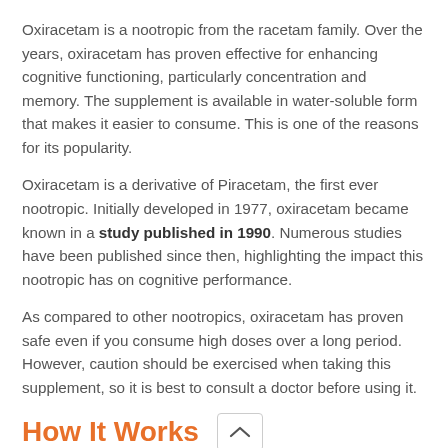Oxiracetam is a nootropic from the racetam family. Over the years, oxiracetam has proven effective for enhancing cognitive functioning, particularly concentration and memory. The supplement is available in water-soluble form that makes it easier to consume. This is one of the reasons for its popularity.
Oxiracetam is a derivative of Piracetam, the first ever nootropic. Initially developed in 1977, oxiracetam became known in a study published in 1990. Numerous studies have been published since then, highlighting the impact this nootropic has on cognitive performance.
As compared to other nootropics, oxiracetam has proven safe even if you consume high doses over a long period. However, caution should be exercised when taking this supplement, so it is best to consult a doctor before using it.
How It Works
The neurotransmitters in the brain are responsible for sending and receiving signals that enable the mind and body to perform